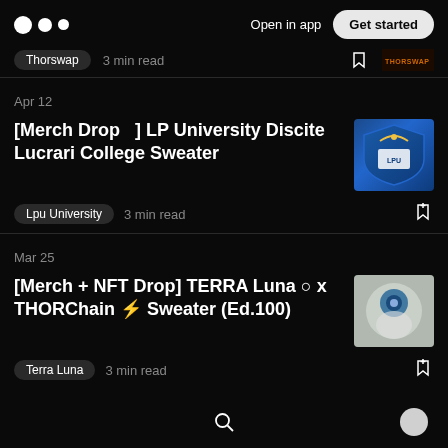Open in app  Get started
Thorswap  3 min read
Apr 12
[Merch Drop 🧣] LP University Discite Lucrari College Sweater
Lpu University  3 min read
Mar 25
[Merch + NFT Drop] TERRA Luna ○ x THORChain ⚡ Sweater (Ed.100)
Terra Luna  3 min read